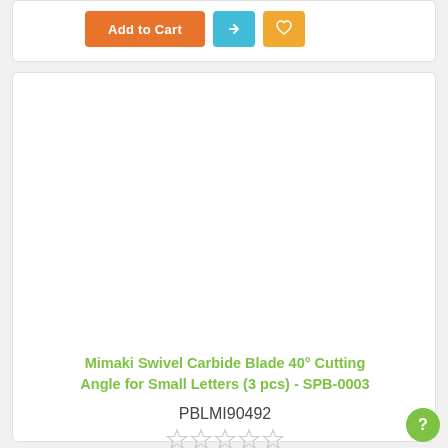[Figure (screenshot): Partial top card showing Add to Cart (orange button), share (cyan button), and wishlist (orange button) at top of page.]
Mimaki Swivel Carbide Blade 40° Cutting Angle for Small Letters (3 pcs) - SPB-0003
PBLMI90492
☆ ☆ ☆ ☆ ☆
Be the first to review this product